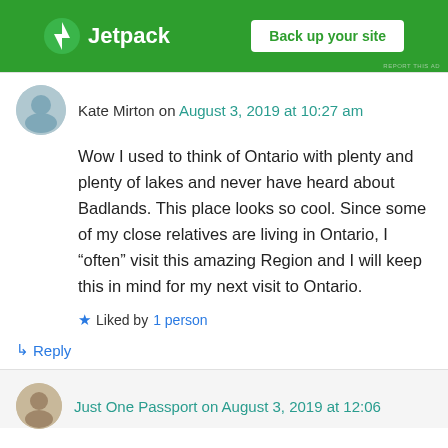[Figure (screenshot): Jetpack advertisement banner with green background, Jetpack logo on left and 'Back up your site' button on right]
Kate Mirton on August 3, 2019 at 10:27 am
Wow I used to think of Ontario with plenty and plenty of lakes and never have heard about Badlands. This place looks so cool. Since some of my close relatives are living in Ontario, I “often” visit this amazing Region and I will keep this in mind for my next visit to Ontario.
★ Liked by 1 person
↳ Reply
Just One Passport on August 3, 2019 at 12:06